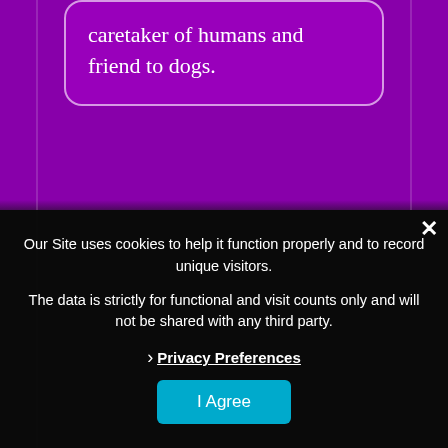caretaker of humans and friend to dogs.
Our Site uses cookies to help it function properly and to record unique visitors.
The data is strictly for functional and visit counts only and will not be shared with any third party.
Privacy Preferences
I Agree